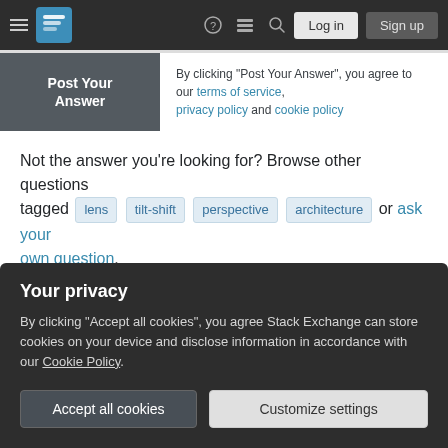Stack Exchange navigation bar with Log in and Sign up buttons
Post Your Answer
By clicking "Post Your Answer", you agree to our terms of service, privacy policy and cookie policy
Not the answer you're looking for? Browse other questions tagged lens tilt-shift perspective architecture or ask your own question.
Photo of the Week
[Figure (photo): Photo of the Week image showing sky and dark diagonal element]
Your privacy
By clicking "Accept all cookies", you agree Stack Exchange can store cookies on your device and disclose information in accordance with our Cookie Policy.
Accept all cookies  Customize settings